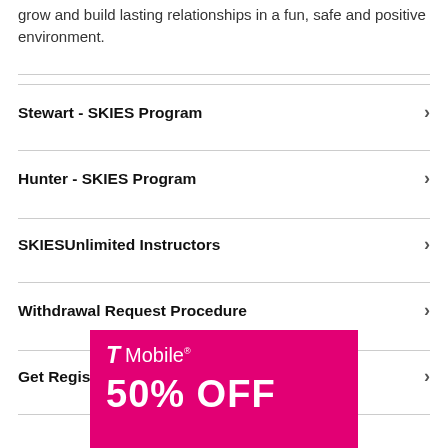grow and build lasting relationships in a fun, safe and positive environment.
Stewart - SKIES Program
Hunter - SKIES Program
SKIESUnlimited Instructors
Withdrawal Request Procedure
Get Registered Today!
[Figure (logo): T-Mobile advertisement banner with magenta background showing T Mobile logo and partial text '50% OFF']